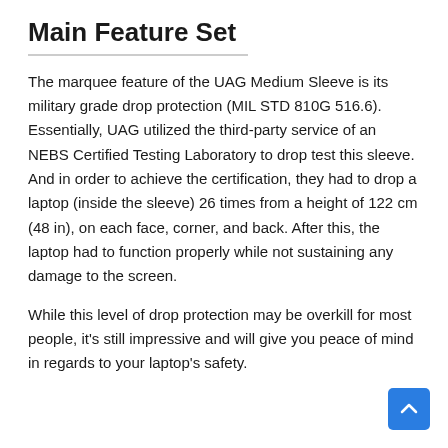Main Feature Set
The marquee feature of the UAG Medium Sleeve is its military grade drop protection (MIL STD 810G 516.6). Essentially, UAG utilized the third-party service of an NEBS Certified Testing Laboratory to drop test this sleeve. And in order to achieve the certification, they had to drop a laptop (inside the sleeve) 26 times from a height of 122 cm (48 in), on each face, corner, and back. After this, the laptop had to function properly while not sustaining any damage to the screen.
While this level of drop protection may be overkill for most people, it's still impressive and will give you peace of mind in regards to your laptop's safety.